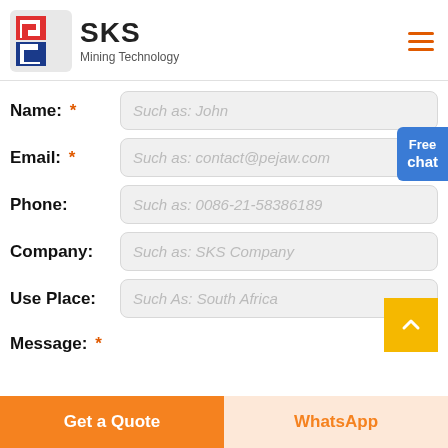[Figure (logo): SKS Mining Technology logo with red and blue geometric icon and company name]
Name: *  Such as: John
Email: *  Such as: contact@pejaw.com
Phone:  Such as: 0086-21-58386189
Company:  Such as: SKS Company
Use Place:  Such As: South Africa
Message: *
Get a Quote
WhatsApp